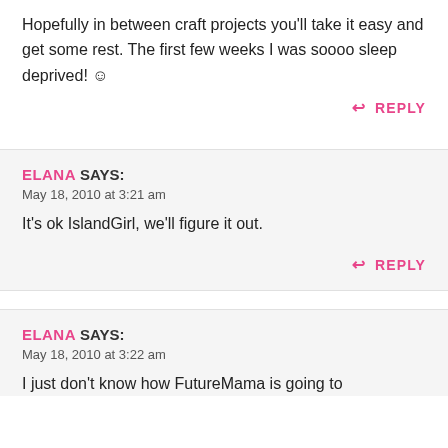Hopefully in between craft projects you'll take it easy and get some rest. The first few weeks I was soooo sleep deprived! ☺
↩ REPLY
ELANA SAYS:
May 18, 2010 at 3:21 am
It's ok IslandGirl, we'll figure it out.
↩ REPLY
ELANA SAYS:
May 18, 2010 at 3:22 am
I just don't know how FutureMama is going to